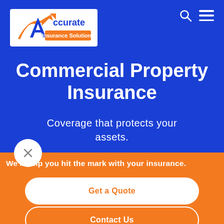[Figure (logo): Accurate Insurance Solutions logo — white background with stylized orange A with upward arrow and blue text 'Accurate Insurance Solutions']
Commercial Property Insurance
Coverage that protects your assets.
We'll help you hit the mark with your insurance.
Get a Quote
Contact Us